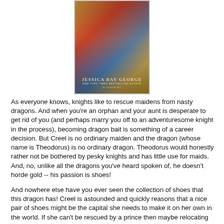[Figure (illustration): Book cover for a fantasy novel by Jessica Day George, showing a dragon and a figure with colorful scales and a red cloak. Text reads: JESSICA DAY GEORGE, NEW YORK TIMES BESTSELLING AUTHOR, BLOOMSBURY]
As everyone knows, knights like to rescue maidens from nasty dragons.  And when you're an orphan and your aunt is desperate to get rid of you (and perhaps marry you off to an adventuresome knight in the process), becoming dragon bait is something of a career decision.  But Creel is no ordinary maiden and the dragon (whose name is Theodorus) is no ordinary dragon.  Theodorus would honestly rather not be bothered by pesky knights and has little use for maids.  And, no, unlike all the dragons you've heard spoken of, he doesn't horde gold -- his passion is shoes!
And nowhere else have you ever seen the collection of shoes that this dragon has!  Creel is astounded and quickly reasons that a nice pair of shoes might be the capital she needs to make it on her own in the world.  If she can't be rescued by a prince then maybe relocating to the capital and